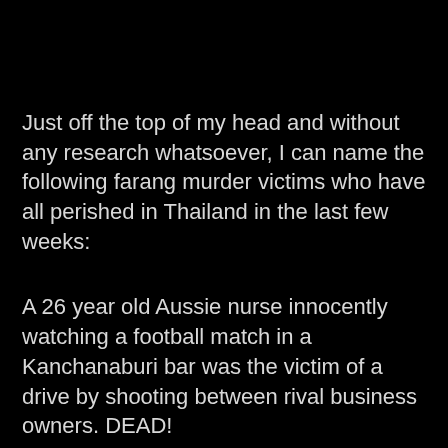Just off the top of my head and without any research whatsoever, I can name the following farang murder victims who have all perished in Thailand in the last few weeks:
A 26 year old Aussie nurse innocently watching a football match in a Kanchanaburi bar was the victim of a drive by shooting between rival business owners. DEAD!
A 32year old Kiwi English teacher stabbed to death in his own apartment in Bangkok having just watched a World Cup football match with his girlfriend. DEAD!